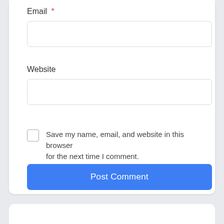Email *
[Figure (other): Empty email input text field with light gray border and rounded corners]
Website
[Figure (other): Empty website input text field with light gray border and rounded corners]
Save my name, email, and website in this browser for the next time I comment.
Post Comment